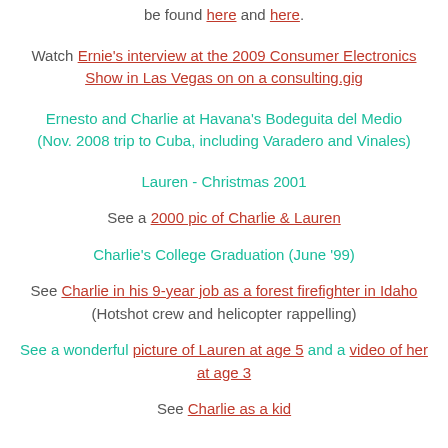be found here and here.
Watch Ernie's interview at the 2009 Consumer Electronics Show in Las Vegas on on a consulting.gig
Ernesto and Charlie at Havana's Bodeguita del Medio (Nov. 2008 trip to Cuba, including Varadero and Vinales)
Lauren - Christmas 2001
See a 2000 pic of Charlie & Lauren
Charlie's College Graduation (June '99)
See Charlie in his 9-year job as a forest firefighter in Idaho (Hotshot crew and helicopter rappelling)
See a wonderful picture of Lauren at age 5 and a video of her at age 3
See Charlie as a kid